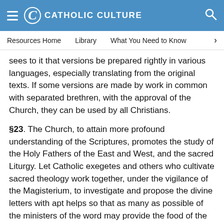CATHOLIC CULTURE
Resources Home   Library   What You Need to Know
sees to it that versions be prepared rightly in various languages, especially translating from the original texts. If some versions are made by work in common with separated brethren, with the approval of the Church, they can be used by all Christians.
§23. The Church, to attain more profound understanding of the Scriptures, promotes the study of the Holy Fathers of the East and West, and the sacred Liturgy. Let Catholic exegetes and others who cultivate sacred theology work together, under the vigilance of the Magisterium, to investigate and propose the divine letters with apt helps so that as many as possible of the ministers of the word may provide the food of the Scriptures fruitfully for the people, according to the sense of the Church.